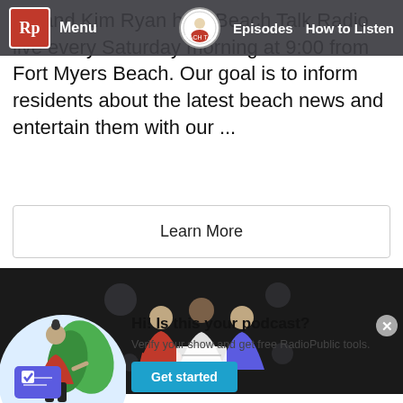Rp | Menu | Episodes | How to Listen
Ed and Kim Ryan host Beach Talk Radio live every Saturday morning at 9:00 from Fort Myers Beach. Our goal is to inform residents about the latest beach news and entertain them with our ...
Learn More
[Figure (illustration): Dark banner with illustration of three people looking at a document together]
[Figure (illustration): Illustration of a woman in red top next to a large verification card with checkmark, green leaves in background, inside a light blue circle]
Hi! Is this your podcast? Verify your show and get free RadioPublic tools.
Get started